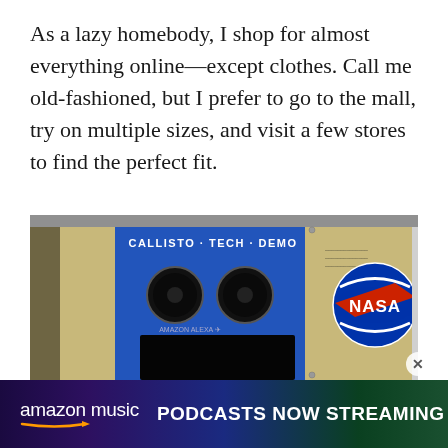As a lazy homebody, I shop for almost everything online—except clothes. Call me old-fashioned, but I prefer to go to the mall, try on multiple sizes, and visit a few stores to find the perfect fit.
[Figure (photo): Photo of NASA Callisto Tech Demo hardware aboard a spacecraft, showing a blue panel labeled 'CALLISTO·TECH·DEMO' with two circular speaker-like elements, a NASA worm logo on the left side panel, and the NASA meatball logo on a gold-colored right panel.]
[Figure (photo): Amazon Music advertisement banner with gradient purple-green background. Shows 'amazon music' logo on left with orange swoosh arrow, and bold white text 'PODCASTS NOW STREAMING' on right.]